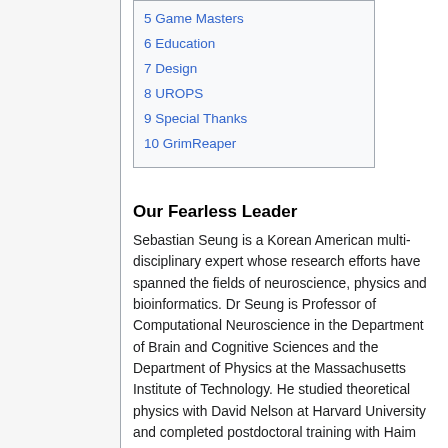5 Game Masters
6 Education
7 Design
8 UROPS
9 Special Thanks
10 GrimReaper
Our Fearless Leader
Sebastian Seung is a Korean American multi-disciplinary expert whose research efforts have spanned the fields of neuroscience, physics and bioinformatics. Dr Seung is Professor of Computational Neuroscience in the Department of Brain and Cognitive Sciences and the Department of Physics at the Massachusetts Institute of Technology. He studied theoretical physics with David Nelson at Harvard University and completed postdoctoral training with Haim